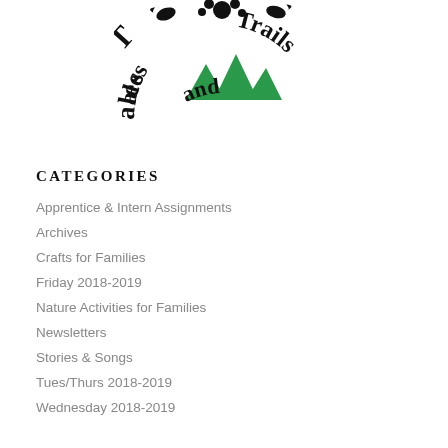[Figure (logo): Tales and Trails circular logo with stylized text arcing around green mountain peaks, decorative bird and floral elements]
CATEGORIES
Apprentice & Intern Assignments
Archives
Crafts for Families
Friday 2018-2019
Nature Activities for Families
Newsletters
Stories & Songs
Tues/Thurs 2018-2019
Wednesday 2018-2019